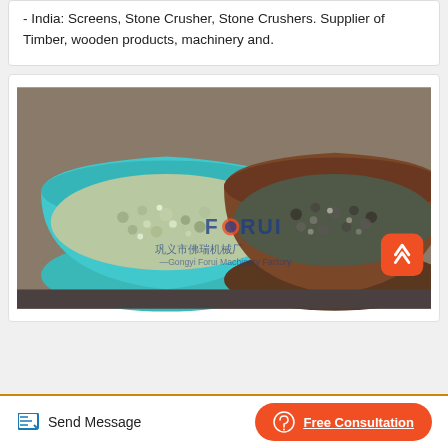- India: Screens, Stone Crusher, Stone Crushers. Supplier of Timber, wooden products, machinery and.
[Figure (photo): Two bowls containing crushed stone/gravel material. Left bowl is turquoise/teal plastic with lighter colored stones. Right bowl is dark brown/copper colored with darker mixed stones. A watermark reads FORUI and Chinese characters.]
Send Message   Free Consultation